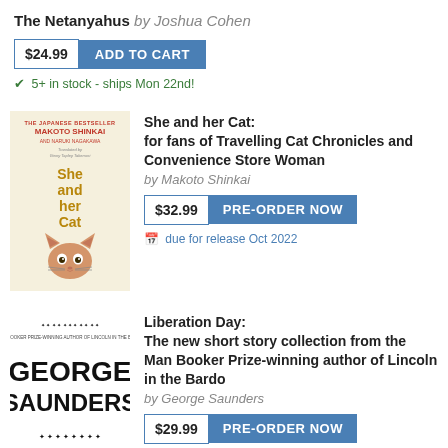The Netanyahus by Joshua Cohen
$24.99 ADD TO CART
✔ 5+ in stock - ships Mon 22nd!
[Figure (illustration): Book cover: She and her Cat by Makoto Shinkai, cream/yellow background with orange text and cat illustration]
She and her Cat: for fans of Travelling Cat Chronicles and Convenience Store Woman by Makoto Shinkai $32.99 PRE-ORDER NOW due for release Oct 2022
[Figure (illustration): Book cover: Liberation Day by George Saunders, black and white with large text]
Liberation Day: The new short story collection from the Man Booker Prize-winning author of Lincoln in the Bardo by George Saunders $29.99 PRE-ORDER NOW